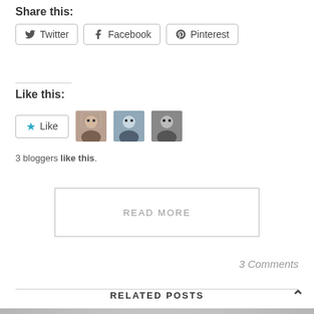Share this:
Twitter  Facebook  Pinterest
Like this:
Like  3 bloggers like this.
READ MORE
3 Comments
RELATED POSTS
[Figure (photo): Book cover showing 'TRUE CRIME' text with large dark and red letters on a grey background]